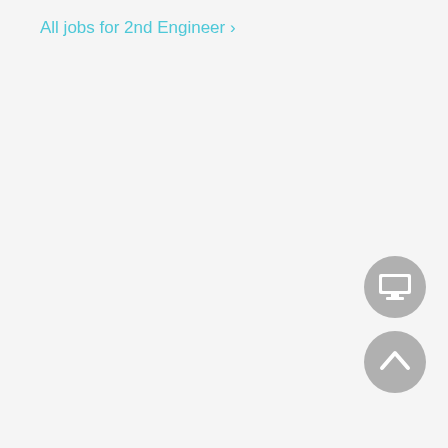All jobs for 2nd Engineer >
[Figure (screenshot): A circular grey button with a white monitor/desktop computer icon in the center, positioned in the lower right area of the page.]
[Figure (screenshot): A circular grey button with a white upward-pointing chevron/arrow icon in the center, positioned in the lower right area of the page below the monitor button.]